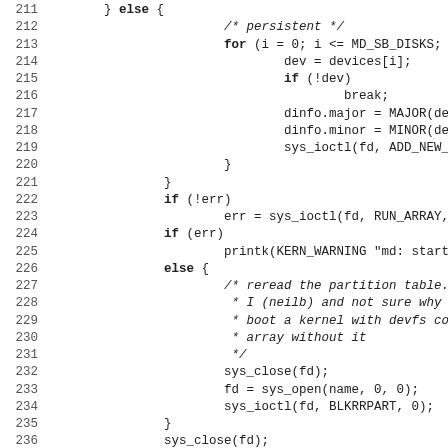[Figure (screenshot): Source code listing showing lines 211-243 of a C kernel module. Lines show persistent device initialization loop, ioctl calls for running RAID array, error handling with printk warning, partition table reread logic, and beginning of static int __init raid_setup(char *str) function.]